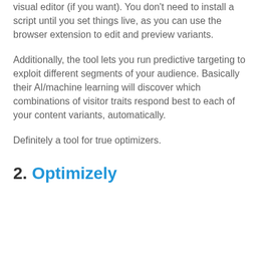visual editor (if you want). You don't need to install a script until you set things live, as you can use the browser extension to edit and preview variants.
Additionally, the tool lets you run predictive targeting to exploit different segments of your audience. Basically their AI/machine learning will discover which combinations of visitor traits respond best to each of your content variants, automatically.
Definitely a tool for true optimizers.
2. Optimizely